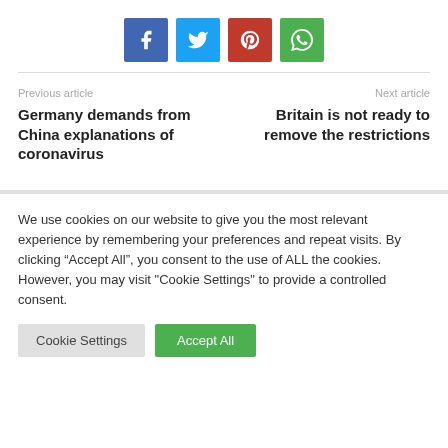[Figure (other): Social sharing buttons: Facebook (blue), Twitter (light blue), Pinterest (red), WhatsApp (green)]
Previous article
Germany demands from China explanations of coronavirus
Next article
Britain is not ready to remove the restrictions
We use cookies on our website to give you the most relevant experience by remembering your preferences and repeat visits. By clicking “Accept All”, you consent to the use of ALL the cookies. However, you may visit "Cookie Settings" to provide a controlled consent.